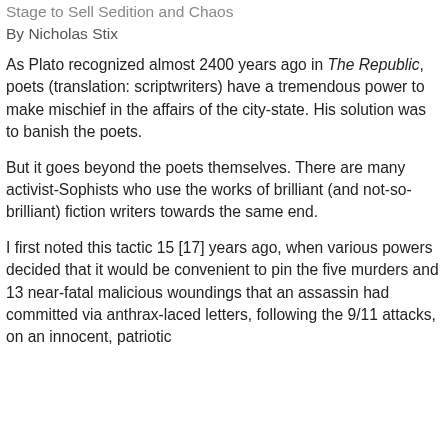Stage to Sell Sedition and Chaos
By Nicholas Stix
As Plato recognized almost 2400 years ago in The Republic, poets (translation: scriptwriters) have a tremendous power to make mischief in the affairs of the city-state. His solution was to banish the poets.
But it goes beyond the poets themselves. There are many activist-Sophists who use the works of brilliant (and not-so-brilliant) fiction writers towards the same end.
I first noted this tactic 15 [17] years ago, when various powers decided that it would be convenient to pin the five murders and 13 near-fatal malicious woundings that an assassin had committed via anthrax-laced letters, following the 9/11 attacks, on an innocent, patriotic